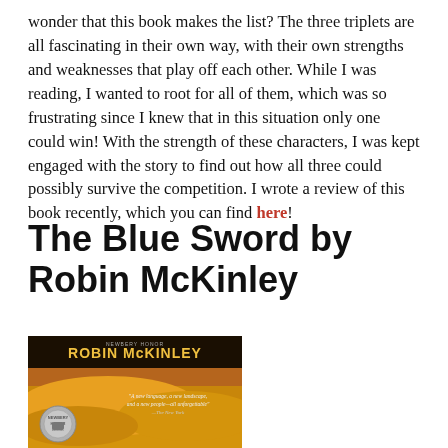wonder that this book makes the list? The three triplets are all fascinating in their own way, with their own strengths and weaknesses that play off each other. While I was reading, I wanted to root for all of them, which was so frustrating since I knew that in this situation only one could win! With the strength of these characters, I was kept engaged with the story to find out how all three could possibly survive the competition. I wrote a review of this book recently, which you can find here!
The Blue Sword by Robin McKinley
[Figure (photo): Book cover of The Blue Sword by Robin McKinley showing author name in gold letters at top, a desert landscape with warm sandy tones, and a Newbery Honor medal badge at bottom left.]